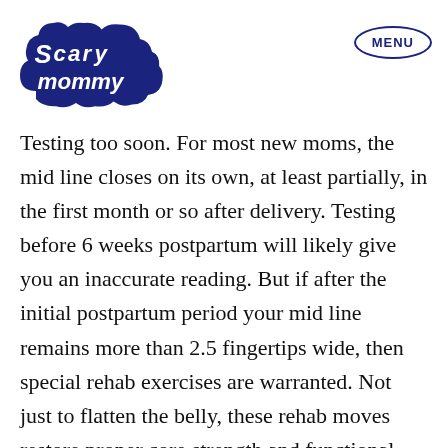[Figure (logo): Scary Mommy logo — stylized blue text in a cloud/bubble shape]
MENU
Testing too soon. For most new moms, the mid line closes on its own, at least partially, in the first month or so after delivery. Testing before 6 weeks postpartum will likely give you an inaccurate reading. But if after the initial postpartum period your mid line remains more than 2.5 fingertips wide, then special rehab exercises are warranted. Not just to flatten the belly, these rehab moves restore proper core strength and functional stability, and prevent complications such as back pain and umbilical